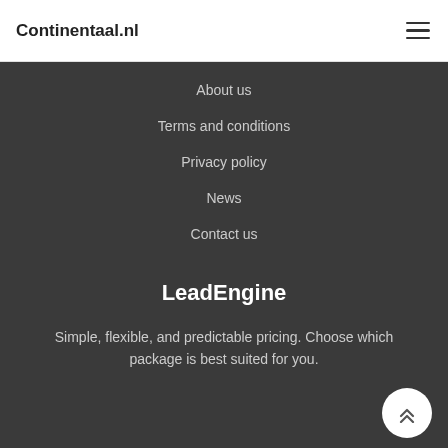Continentaal.nl
About us
Terms and conditions
Privacy policy
News
Contact us
LeadEngine
Simple, flexible, and predictable pricing. Choose which package is best suited for you.